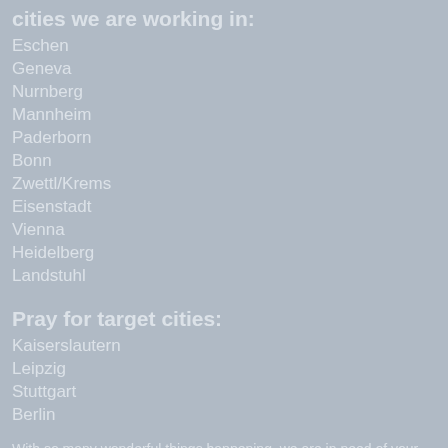cities we are working in:
Eschen
Geneva
Nurnberg
Mannheim
Paderborn
Bonn
Zwettl/Krems
Eisenstadt
Vienna
Heidelberg
Landstuhl
Pray for target cities:
Kaiserslautern
Leipzig
Stuttgart
Berlin
With so many wonderful things happening, we are in need of your support. You will not want to miss this opportunity to be...